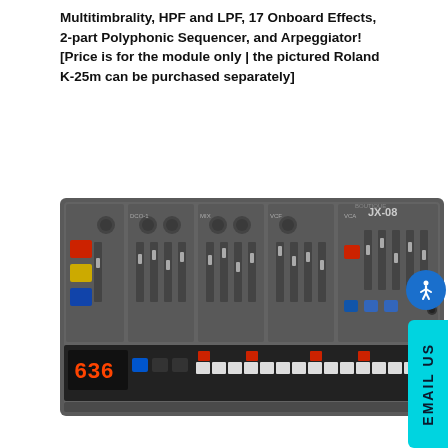Multitimbrality, HPF and LPF, 17 Onboard Effects, 2-part Polyphonic Sequencer, and Arpeggiator! [Price is for the module only | the pictured Roland K-25m can be purchased separately]
[Figure (photo): Roland JX-08 synthesizer module shown from above/front angle, displaying the grey control panel with sliders, knobs, buttons including red and yellow and blue buttons on the left side, a digital display showing '636', and many white square buttons on the lower section for sequencing. The unit label 'JX-08' is visible in the upper right.]